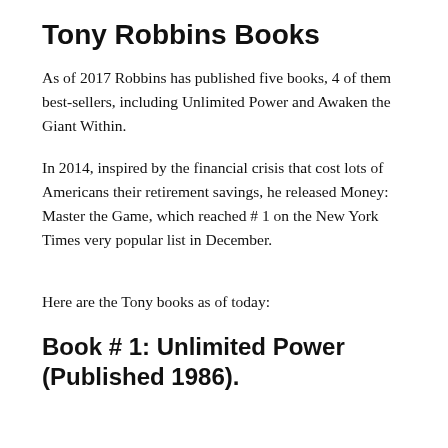Tony Robbins Books
As of 2017 Robbins has published five books, 4 of them best-sellers, including Unlimited Power and Awaken the Giant Within.
In 2014, inspired by the financial crisis that cost lots of Americans their retirement savings, he released Money: Master the Game, which reached # 1 on the New York Times very popular list in December.
Here are the Tony books as of today:
Book # 1: Unlimited Power (Published 1986).